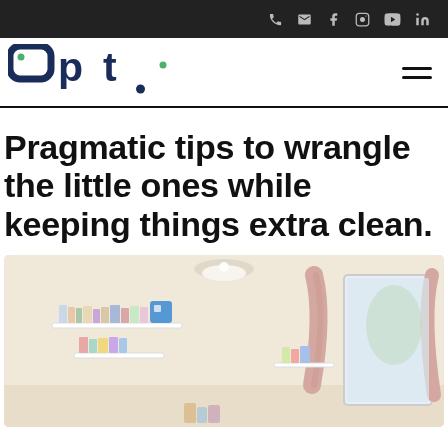Opt. website header with phone, email, facebook, instagram, youtube, linkedin icons
[Figure (logo): Opt. company logo in dark navy blue with green dots]
Pragmatic tips to wrangle the little ones while keeping things extra clean.
[Figure (photo): Interior photo of a child's room with white floating shelves holding books and toys, a ceiling light, pink curtains, and a bright window.]